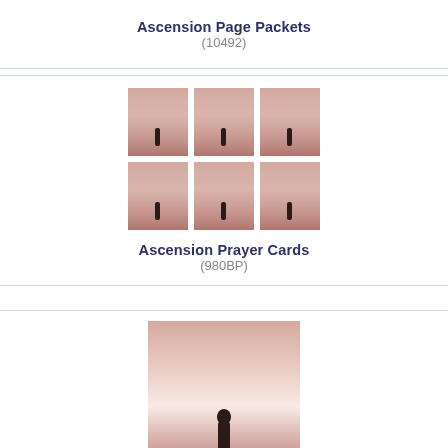Ascension Page Packets
(10492)
[Figure (photo): Sheet of repeated prayer cards showing a figure ascending through rosy clouds, arranged in a 3x2 grid layout]
Ascension Prayer Cards
(980BP)
[Figure (photo): Single service folder card showing a figure ascending through rosy pink clouds]
Ascension Service Folders
(964BP)